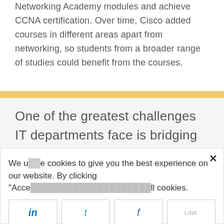Networking Academy modules and achieve CCNA certification. Over time, Cisco added courses in different areas apart from networking, so students from a broader range of studies could benefit from the courses.
One of the greatest challenges IT departments face is bridging the gap between the curriculum and the latest technology.
We use cookies to give you the best experience on our website. By clicking "Acce... ll cookies.